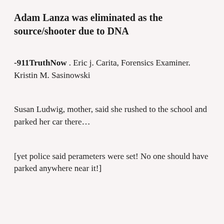Adam Lanza was eliminated as the source/shooter due to DNA
-911TruthNow . Eric j. Carita, Forensics Examiner. Kristin M. Sasinowski
Susan Ludwig, mother, said she rushed to the school and parked her car there…
[yet police said perameters were set! No one should have parked anywhere near it!]